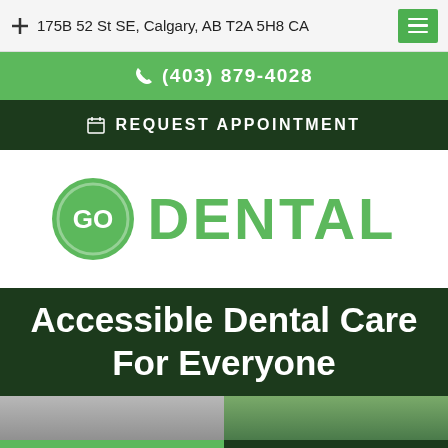175B 52 St SE, Calgary, AB T2A 5H8 CA
(403) 879-4028
REQUEST APPOINTMENT
[Figure (logo): Go Dental logo: green circle with 'GO' text beside large green 'DENTAL' text]
Accessible Dental Care For Everyone
[Figure (photo): Partial photo strip at bottom of page]
Phone and email contact buttons